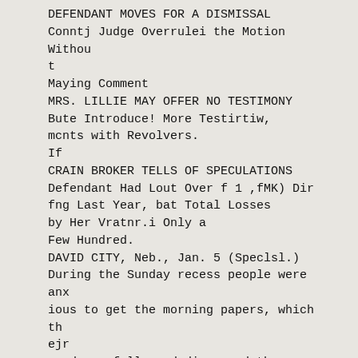DEFENDANT MOVES FOR A DISMISSAL
Conntj Judge Overrulei the Motion Without
t
Maying Comment
MRS. LILLIE MAY OFFER NO TESTIMONY
Bute Introduce! More Testirtiw,
mcnts with Revolvers.
If
CRAIN BROKER TELLS OF SPECULATIONS
Defendant Had Lout Over f 1 ,fMK) Dir
fng Last Year, bat Total Losses
by Her Vratnr.i Only a
Few Hundred.
DAVID CITY, Neb., Jan. 5 (Speclsl.)
During the Sunday recess people were anx
ious to get the morning papers, which th
ejr
read carefully and discussed the Llllie
case
earnestly. TMs waa the principal topic o